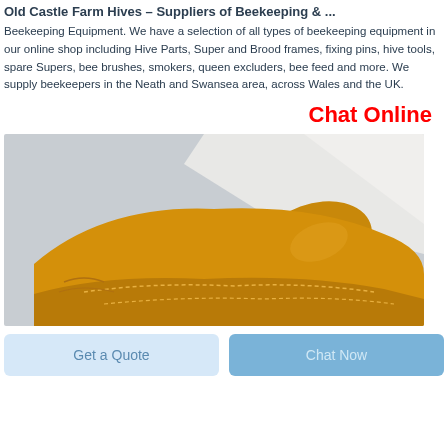Old Castle Farm Hives – Suppliers of Beekeeping & ...
Beekeeping Equipment. We have a selection of all types of beekeeping equipment in our online shop including Hive Parts, Super and Brood frames, fixing pins, hive tools, spare Supers, bee brushes, smokers, queen excluders, bee feed and more. We supply beekeepers in the Neath and Swansea area, across Wales and the UK.
Chat Online
[Figure (photo): Photo of yellow leather beekeeping gloves on a white background]
Get a Quote
Chat Now